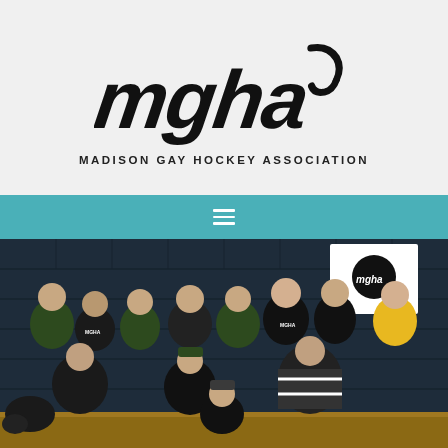[Figure (logo): MGHA logo — stylized letters 'mgha' in bold italic black with a hockey stick, above text 'MADISON GAY HOCKEY ASSOCIATION']
[Figure (photo): Group photo of hockey team members in green and black jerseys celebrating in a locker room with blue cinder block walls, holding a flag with MGHA logo, some in gear, smiling and posing]